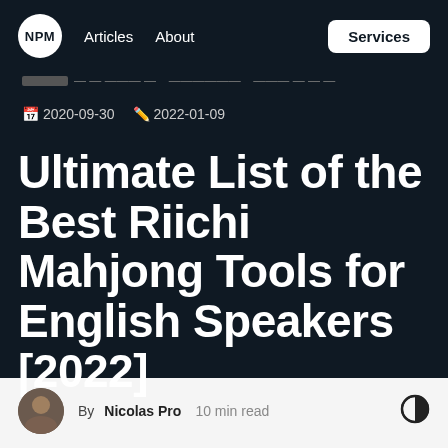NPM | Articles | About | Services
2020-09-30  2022-01-09
Ultimate List of the Best Riichi Mahjong Tools for English Speakers [2022]
By Nicolas Pro  10 min read